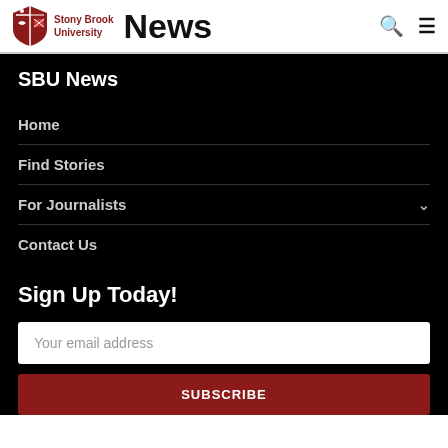Stony Brook University News
SBU News
Home
Find Stories
For Journalists
Contact Us
Sign Up Today!
Your email address
SUBSCRIBE